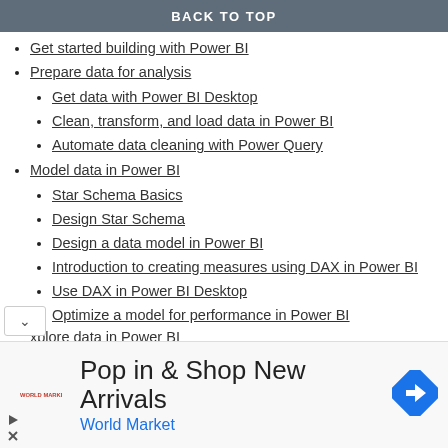BACK TO TOP
Get started building with Power BI
Prepare data for analysis
Get data with Power BI Desktop
Clean, transform, and load data in Power BI
Automate data cleaning with Power Query
Model data in Power BI
Star Schema Basics
Design Star Schema
Design a data model in Power BI
Introduction to creating measures using DAX in Power BI
Use DAX in Power BI Desktop
Optimize a model for performance in Power BI
xplore data in Power BI
[Figure (infographic): Advertisement banner for World Market: 'Pop in & Shop New Arrivals' with World Market logo and navigation icon]